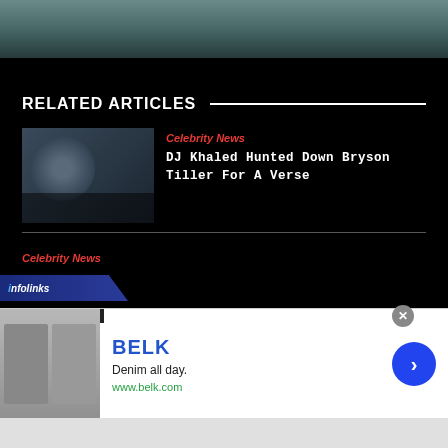[Figure (photo): Top portion of a person/subject photo, partially visible, with teal/dark background]
RELATED ARTICLES
[Figure (photo): Thumbnail image of a person (DJ Khaled related article)]
Celebrity News
DJ Khaled Hunted Down Bryson Tiller For A Verse
Celebrity News
[Figure (screenshot): Advertisement banner for BELK showing denim clothing, with text Denim all day. www.belk.com and a blue arrow button]